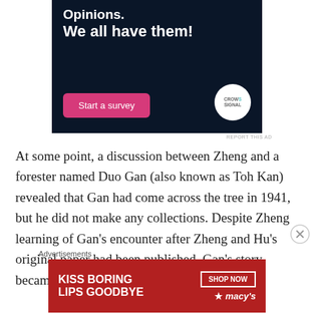[Figure (other): Advertisement banner with dark navy background showing text 'Opinions. We all have them!' with a pink 'Start a survey' button and CrowdSignal logo]
At some point, a discussion between Zheng and a forester named Duo Gan (also known as Toh Kan) revealed that Gan had come across the tree in 1941, but he did not make any collections. Despite Zheng learning of Gan's encounter after Zheng and Hu's original paper had been published, Gan's story became prominent, further
[Figure (other): Advertisement banner for Macy's lipstick: 'KISS BORING LIPS GOODBYE' with 'SHOP NOW' button and Macy's star logo, red background with model image]